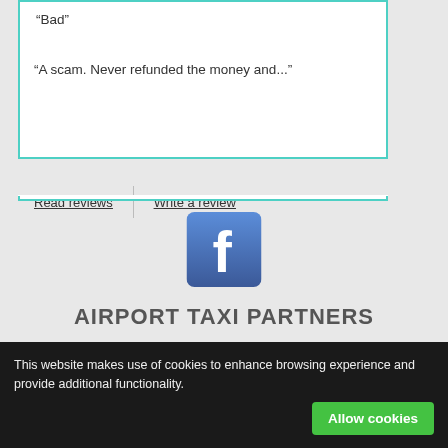“Bad”
“A scam. Never refunded the money and...”
Read reviews | Write a review
[Figure (logo): Facebook logo icon — white letter f on blue square background]
AIRPORT TAXI PARTNERS
Bucharest Airport transfers
This website makes use of cookies to enhance browsing experience and provide additional functionality.